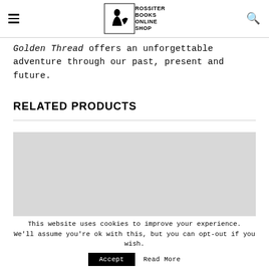Rossiter Books Online Shop
Golden Thread offers an unforgettable adventure through our past, present and future.
RELATED PRODUCTS
[Figure (photo): Light grey placeholder rectangle for a related product image]
This website uses cookies to improve your experience. We'll assume you're ok with this, but you can opt-out if you wish. Accept  Read More